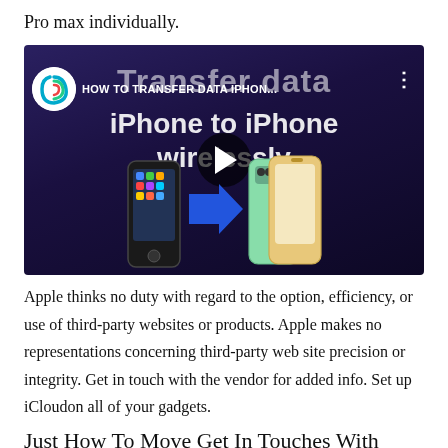Pro max individually.
[Figure (screenshot): YouTube video thumbnail showing 'Transfer data iPhone to iPhone wirelessly' with channel logo 'Technical People', two iPhones with a blue arrow between them, and a play button overlay.]
Apple thinks no duty with regard to the option, efficiency, or use of third-party websites or products. Apple makes no representations concerning third-party web site precision or integrity. Get in touch with the vendor for added info. Set up iCloudon all of your gadgets.
Just How To Move Get In Touches With From An Iphone To One More Phone